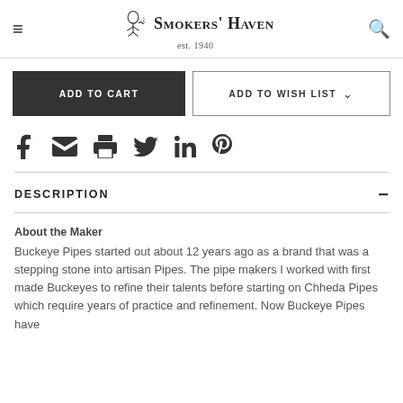Smokers' Haven est. 1940
[Figure (other): ADD TO CART button and ADD TO WISH LIST button with chevron]
[Figure (other): Social share icons: Facebook, Email, Print, Twitter, LinkedIn, Pinterest]
DESCRIPTION
About the Maker
Buckeye Pipes started out about 12 years ago as a brand that was a stepping stone into artisan Pipes. The pipe makers I worked with first made Buckeyes to refine their talents before starting on Chheda Pipes which require years of practice and refinement. Now Buckeye Pipes have